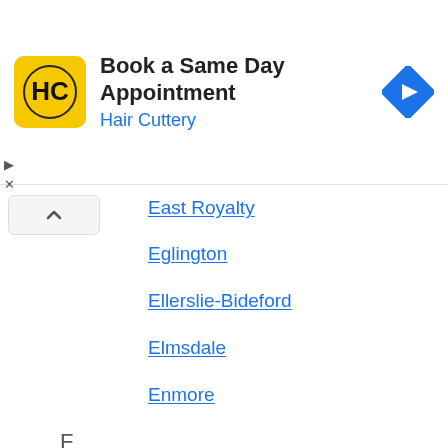[Figure (infographic): Hair Cuttery advertisement banner: yellow square logo with HC monogram, text 'Book a Same Day Appointment' and 'Hair Cuttery' in blue, blue diamond navigation arrow icon on right]
East Royalty
Eglington
Ellerslie-Bideford
Elmsdale
Enmore
F
Farmington
Fernwood
Fortune Bridge
Foxley River
French River
G
Gaspereau